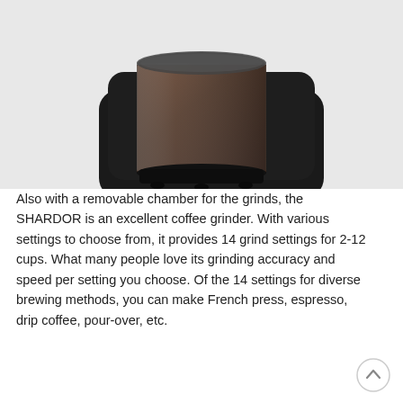[Figure (photo): Close-up photo of a SHARDOR coffee grinder showing the transparent cylindrical hopper filled with dark coffee grounds, sitting on a black body unit.]
Also with a removable chamber for the grinds, the SHARDOR is an excellent coffee grinder. With various settings to choose from, it provides 14 grind settings for 2-12 cups. What many people love its grinding accuracy and speed per setting you choose. Of the 14 settings for diverse brewing methods, you can make French press, espresso, drip coffee, pour-over, etc.